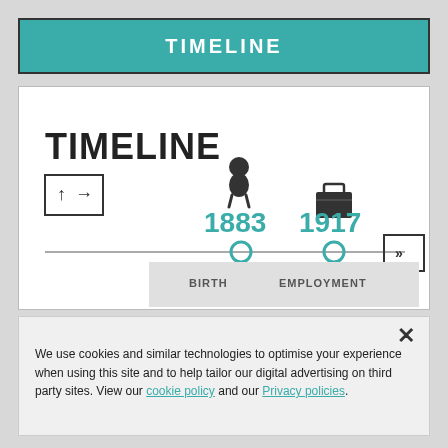TIMELINE
[Figure (infographic): Interactive timeline infographic showing two events: BIRTH in 1883 (baby icon) and EMPLOYMENT in 1917 (briefcase icon), with a horizontal timeline line, teal circle markers at each date, navigation arrows on left and right ends, and grey label boxes below each marker.]
We use cookies and similar technologies to optimise your experience when using this site and to help tailor our digital advertising on third party sites. View our cookie policy and our Privacy policies.